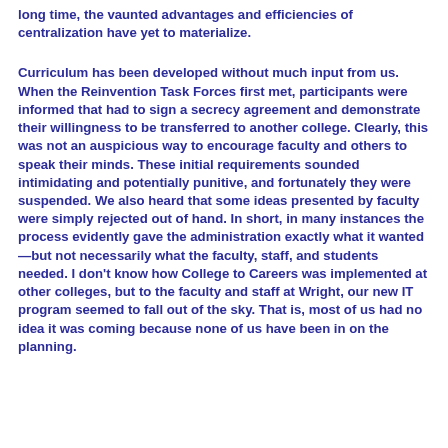long time, the vaunted advantages and efficiencies of centralization have yet to materialize.
Curriculum has been developed without much input from us. When the Reinvention Task Forces first met, participants were informed that had to sign a secrecy agreement and demonstrate their willingness to be transferred to another college. Clearly, this was not an auspicious way to encourage faculty and others to speak their minds. These initial requirements sounded intimidating and potentially punitive, and fortunately they were suspended. We also heard that some ideas presented by faculty were simply rejected out of hand. In short, in many instances the process evidently gave the administration exactly what it wanted—but not necessarily what the faculty, staff, and students needed. I don't know how College to Careers was implemented at other colleges, but to the faculty and staff at Wright, our new IT program seemed to fall out of the sky. That is, most of us had no idea it was coming because none of us have been in on the planning.